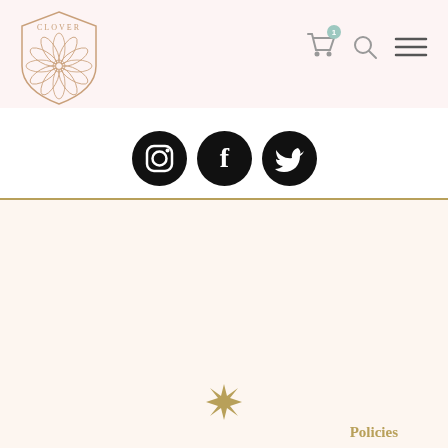[Figure (logo): Clover brand logo with decorative floral shield design and text CLOVER]
[Figure (infographic): Navigation icons: shopping cart with badge showing 1 item, search/magnifier icon, and hamburger menu icon]
[Figure (infographic): Social media icons: Instagram, Facebook, Twitter circular black icons]
Policies
My Account
© 2022 All rights reserved.  |
Cart
Home
[Figure (logo): Small decorative gold star/floral emblem at bottom center]